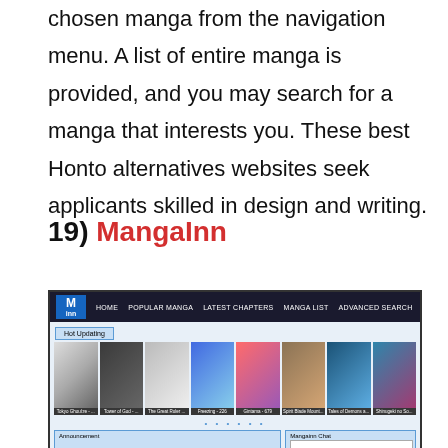chosen manga from the navigation menu. A list of entire manga is provided, and you may search for a manga that interests you. These best Honto alternatives websites seek applicants skilled in design and writing.
19) MangaInn
[Figure (screenshot): Screenshot of the MangaInn website showing a dark navigation bar with logo, menu items (HOME, POPULAR MANGA, LATEST CHAPTERS, MANGA LIST, ADVANCED SEARCH), a Hot Updating section with manga cover thumbnails (Tokyo Ghoul:re, Tower of God, The Great Ruler, Freezing, Gintama, Spirit Blade Mountain, Tales of Demons, Shinugeki no So), pagination dots, and bottom sections for Announcement and Mangainn Chat.]